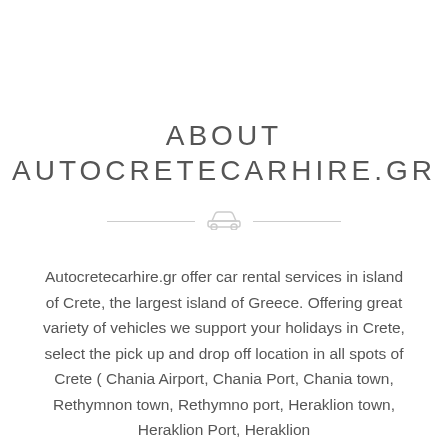ABOUT AUTOCRETECARHIRE.GR
[Figure (illustration): Horizontal divider with car icon in the center, flanked by two horizontal lines on each side]
Autocretecarhire.gr offer car rental services in island of Crete, the largest island of Greece. Offering great variety of vehicles we support your holidays in Crete, select the pick up and drop off location in all spots of Crete ( Chania Airport, Chania Port, Chania town, Rethymnon town, Rethymno port, Heraklion town, Heraklion Port, Heraklion